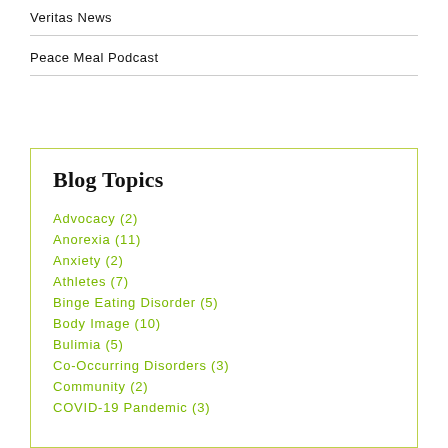Veritas News
Peace Meal Podcast
Blog Topics
Advocacy (2)
Anorexia (11)
Anxiety (2)
Athletes (7)
Binge Eating Disorder (5)
Body Image (10)
Bulimia (5)
Co-Occurring Disorders (3)
Community (2)
COVID-19 Pandemic (3)